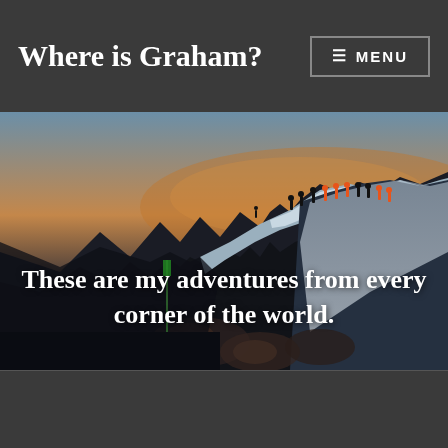Where is Graham?
≡ MENU
[Figure (photo): A snowy mountain ridge at dawn or dusk with a group of climbers/hikers silhouetted along the ridge line; warm golden sky in the background.]
These are my adventures from every corner of the world.